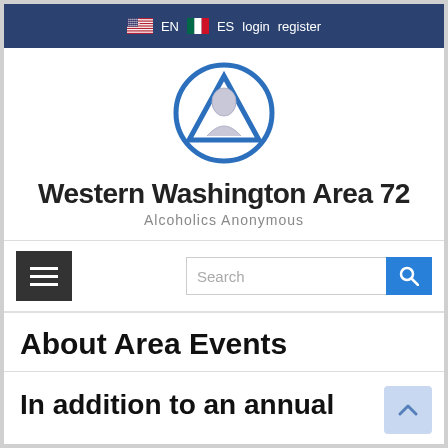EN  ES  login  register
[Figure (logo): AA logo: blue circle with triangle inside]
Western Washington Area 72
Alcoholics Anonymous
[Figure (other): Hamburger menu button (three horizontal bars) and search bar with search button]
About Area Events
In addition to an annual